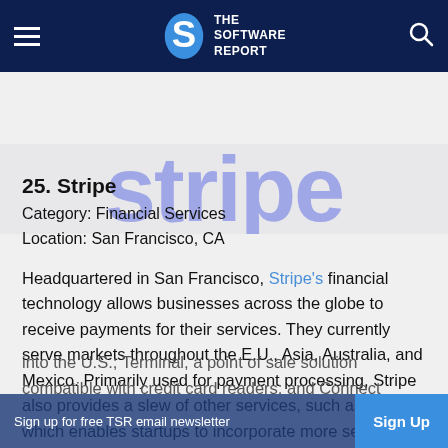THE SOFTWARE REPORT
[Figure (logo): Stripe wordmark in large purple/indigo letters as a banner image]
25. Stripe
Category: Financial Services
Location: San Francisco, CA
Headquartered in San Francisco, Stripe's financial technology allows businesses across the globe to receive payments for their services. They currently serve markets throughout the E.U., Asia, Australia, and Mexico. Primarily used for payment processing, Stripe also provides a slew of other services, such as Atlas, which enables startups to incorporate more seamlessly into the U.S.; Terminal, a point of sale solution compatible with credit card readers; and Connect
Sign up for free TSR email newsletter